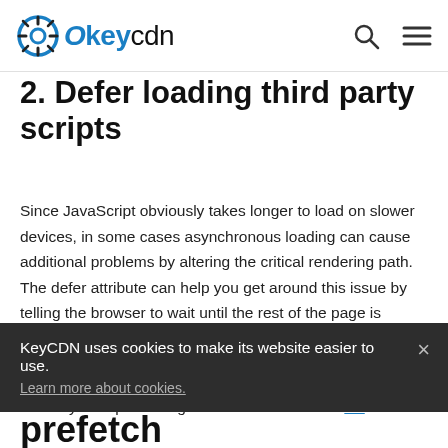KeyCDN (logo) | search | menu
2. Defer loading third party scripts
Since JavaScript obviously takes longer to load on slower devices, in some cases asynchronous loading can cause additional problems by altering the critical rendering path. The defer attribute can help you get around this issue by telling the browser to wait until the rest of the page is finished loading before executing a script. Of course, you'll have to decide which resources should be prioritized.
Choosing between defer and async will depend upon which assets you're prioritizing. Read more about the diff... [link]
KeyCDN uses cookies to make its website easier to use. Learn more about cookies.
prefetch